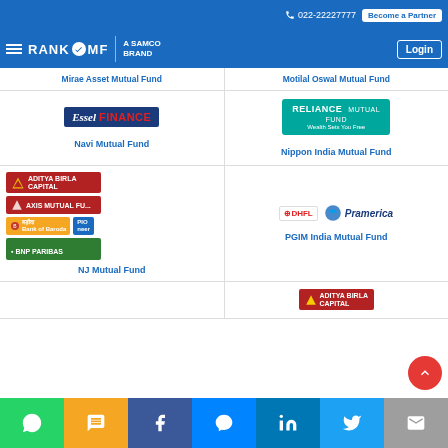022-22227777 | Become a Partner | Login
[Figure (logo): RankMF - A Samco Brand logo with hamburger menu]
Mirae Asset Mutual Fund
Motilal Oswal Mutual Fund
[Figure (logo): Essel Finance logo]
Navi Mutual Fund
[Figure (logo): Reliance Mutual Fund logo]
Nippon India Mutual Fund
[Figure (logo): Multiple logos: Aditya Birla Capital, Axis Mutual Fund, Bank of Baroda, PIO, BNP Paribas]
NJ Mutual Fund
[Figure (logo): DHFL Pramerica logo]
PGIM India Mutual Fund
[Figure (logo): Aditya Birla Capital logo (partial, bottom)]